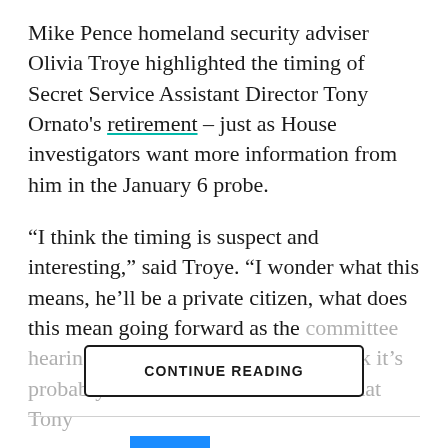Mike Pence homeland security adviser Olivia Troye highlighted the timing of Secret Service Assistant Director Tony Ornato's retirement – just as House investigators want more information from him in the January 6 probe.
“I think the timing is suspect and interesting,” said Troye. “I wonder what this means, he’ll be a private citizen, what does this mean going forward as the committee hearings start up again. I actually think it’s probably best for the Secret Service that Tony
CONTINUE READING